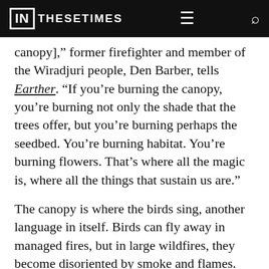IN THESE TIMES
canopy],” former firefighter and member of the Wiradjuri people, Den Barber, tells Earther. “If you’re burning the canopy, you’re burning not only the shade that the trees offer, but you’re burning perhaps the seedbed. You’re burning habitat. You’re burning flowers. That’s where all the magic is, where all the things that sustain us are.”
The canopy is where the birds sing, another language in itself. Birds can fly away in managed fires, but in large wildfires, they become disoriented by smoke and flames. They die, their lilting songs going with them.
In his book Cultures of Habitat: On Nature, Culture,